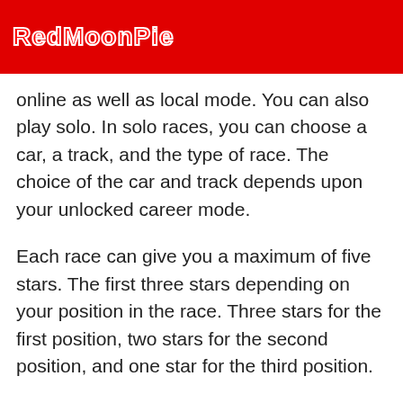RedMoonPie
online as well as local mode. You can also play solo. In solo races, you can choose a car, a track, and the type of race. The choice of the car and track depends upon your unlocked career mode.
Each race can give you a maximum of five stars. The first three stars depending on your position in the race. Three stars for the first position, two stars for the second position, and one star for the third position.